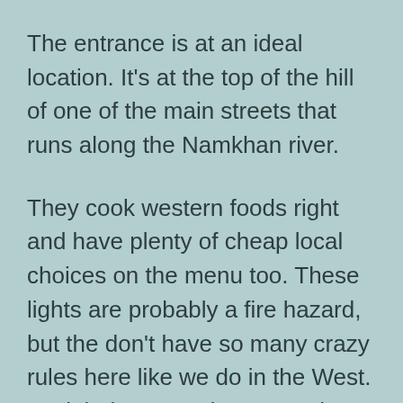The entrance is at an ideal location. It's at the top of the hill of one of the main streets that runs along the Namkhan river.
They cook western foods right and have plenty of cheap local choices on the menu too. These lights are probably a fire hazard, but the don't have so many crazy rules here like we do in the West. It might be more dangerous here without all the codes and regulations, but you feel way more freedom in your life.